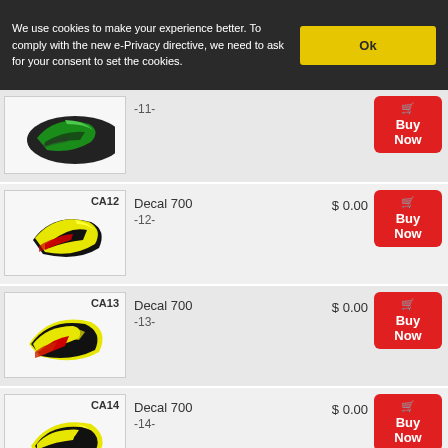We use cookies to make your experience better. To comply with the new e-Privacy directive, we need to ask for your consent to set the cookies.
[Figure (photo): Helicopter canopy CA11 with green and black design, partially visible]
-11-
[Figure (photo): Helicopter canopy CA12 with yellow, black and red design]
Decal 700 -12-
$ 0.00
[Figure (photo): Helicopter canopy CA13 with yellow, black and red design]
Decal 700 -13-
$ 0.00
[Figure (photo): Helicopter canopy CA14 with yellow and black stripe design]
Decal 700 -14-
$ 0.00